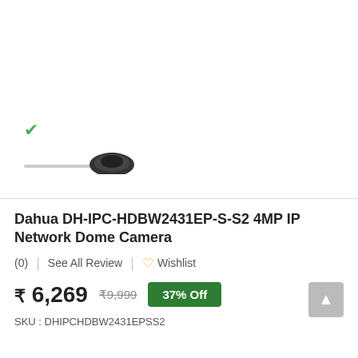[Figure (photo): Dahua IP Network Dome Camera product image with green checkmark icon, partially visible camera dome shape on white background]
Dahua DH-IPC-HDBW2431EP-S-S2 4MP IP Network Dome Camera
(0) | See All Review | ♡ Wishlist
₹ 6,269  ₹9,999  37% Off
SKU : DHIPCHDBW2431EPSS2